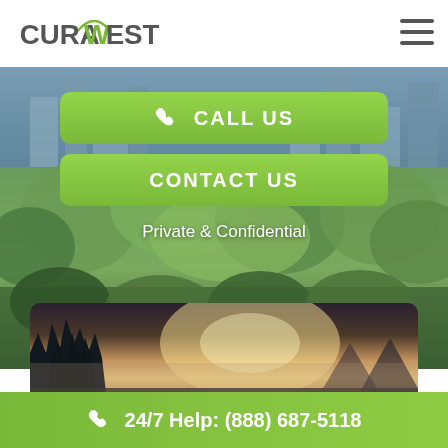[Figure (logo): CuraWest logo with green arc above the W]
[Figure (illustration): Hamburger menu icon, three horizontal lines]
[Figure (photo): City skyline and autumn trees background photo used as hero section backdrop]
CALL US
CONTACT US
Private & Confidential
[Figure (photo): Landscape panoramic photo showing forest silhouette and misty sunrise/sunset light]
24/7 Help: (888) 687-5118